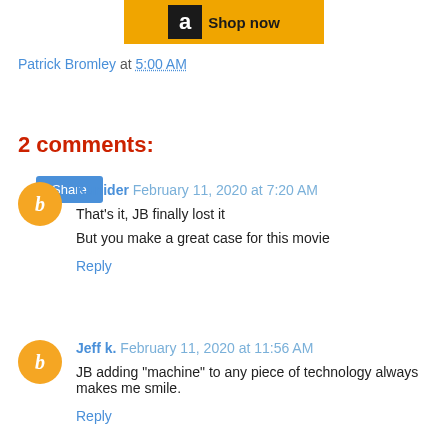[Figure (other): Amazon 'Shop now' banner with black Amazon logo 'a' icon and gold/yellow background]
Patrick Bromley at 5:00 AM
Share
2 comments:
Kunider  February 11, 2020 at 7:20 AM
That's it, JB finally lost it

But you make a great case for this movie
Reply
Jeff k.  February 11, 2020 at 11:56 AM
JB adding "machine" to any piece of technology always makes me smile.
Reply